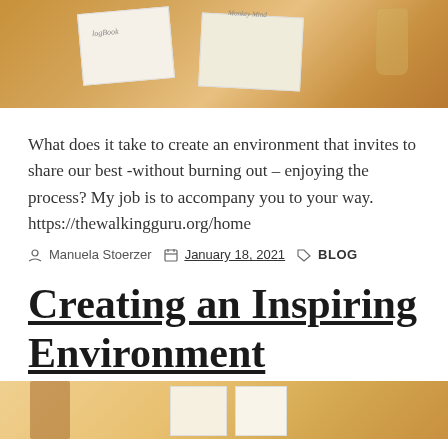[Figure (photo): Photo of books on a wooden table with warm orange/amber tones, including what appears to be a logbook and 'Monkey Mind' book, with a glass nearby]
What does it take to create an environment that invites to share our best -without burning out – enjoying the process? My job is to accompany you to your way. https://thewalkingguru.org/home
Manuela Stoerzer  January 18, 2021  BLOG
Creating an Inspiring Environment
[Figure (photo): Photo showing books and light-colored objects with warm golden tones, partially visible at bottom of page]